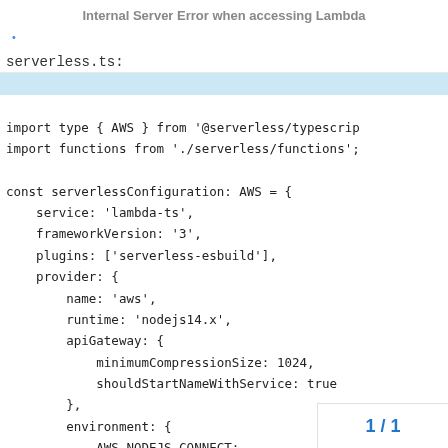Internal Server Error when accessing Lambda
serverless.ts:
import type { AWS } from '@serverless/typescri
import functions from './serverless/functions';

const serverlessConfiguration: AWS = {
    service: 'lambda-ts',
    frameworkVersion: '3',
    plugins: ['serverless-esbuild'],
    provider: {
        name: 'aws',
        runtime: 'nodejs14.x',
        apiGateway: {
            minimumCompressionSize: 1024,
            shouldStartNameWithService: true
        },
        environment: {
            AWS_NODEJS_CONNECT
            NODE_OPTIONS: '--e
1 / 1